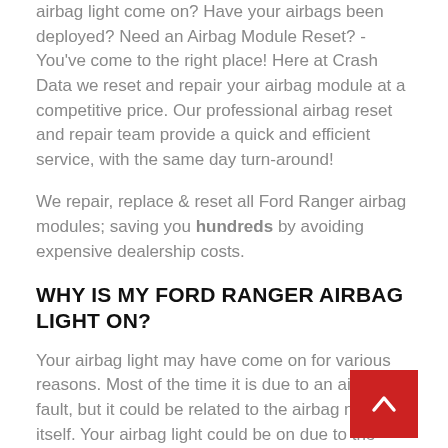airbag light come on? Have your airbags been deployed? Need an Airbag Module Reset? - You've come to the right place! Here at Crash Data we reset and repair your airbag module at a competitive price. Our professional airbag reset and repair team provide a quick and efficient service, with the same day turn-around!
We repair, replace & reset all Ford Ranger airbag modules; saving you hundreds by avoiding expensive dealership costs.
WHY IS MY FORD RANGER AIRBAG LIGHT ON?
Your airbag light may have come on for various reasons. Most of the time it is due to an airbag fault, but it could be related to the airbag module itself. Your airbag light could be on due to the following issues:
Crash sensors fault
Crash data stored
Airbags deployed